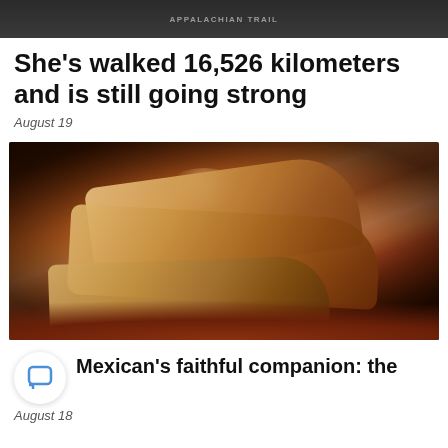[Figure (photo): Top dark banner image with text APPALACHIAN TRAIL]
She’s walked 16,526 kilometers and is still going strong
August 19
[Figure (photo): Photo of tamales wrapped in corn husks stacked on a clay plate with colorful textiles in background]
Mexican’s faithful companion: the
August 18